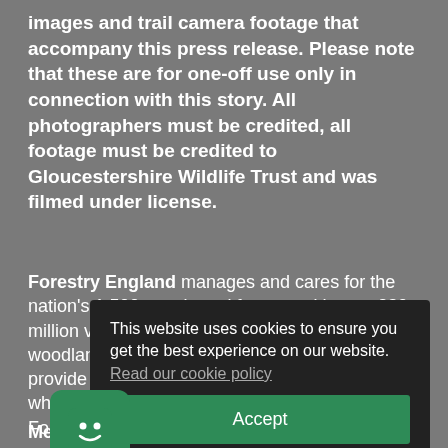images and trail camera footage that accompany this press release. Please note that these are for one-off use only in connection with this story. All photographers must be credited, all footage must be credited to Gloucestershire Wildlife Trust and was filmed under license.
Forestry England manages and cares for the nation's 1,500 woods and forests, with over 230 million visits per year. Forestry England's woodlands are used to shape landscapes, provide places for people and nature to enjoy, while supporting important businesses to grow. For more information visit www.forestryengland.uk
[Figure (screenshot): Cookie consent popup overlay on dark background with text 'This website uses cookies to ensure you get the best experience on our website. Read our cookie policy' and a green Accept button]
[Figure (illustration): Green chat widget icon with a smiley face emoji]
Media contact: Stephanie Johns, Communications